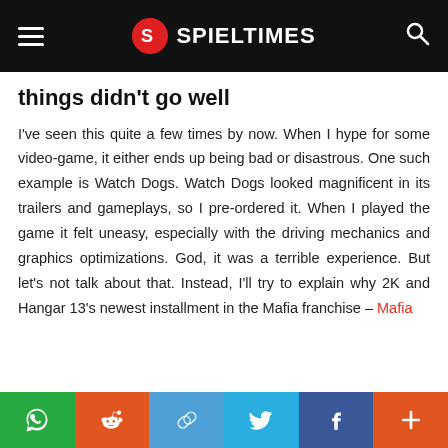SPIELTIMES
things didn't go well
I've seen this quite a few times by now. When I hype for some video-game, it either ends up being bad or disastrous. One such example is Watch Dogs. Watch Dogs looked magnificent in its trailers and gameplays, so I pre-ordered it. When I played the game it felt uneasy, especially with the driving mechanics and graphics optimizations. God, it was a terrible experience. But let's not talk about that. Instead, I'll try to explain why 2K and Hangar 13's newest installment in the Mafia franchise – Mafia